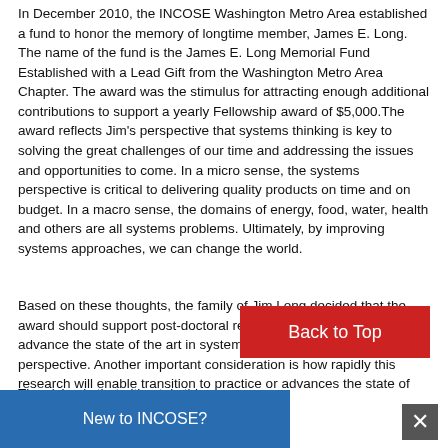In December 2010, the INCOSE Washington Metro Area established a fund to honor the memory of longtime member, James E. Long. The name of the fund is the James E. Long Memorial Fund Established with a Lead Gift from the Washington Metro Area Chapter. The award was the stimulus for attracting enough additional contributions to support a yearly Fellowship award of $5,000.The award reflects Jim's perspective that systems thinking is key to solving the great challenges of our time and addressing the issues and opportunities to come. In a micro sense, the systems perspective is critical to delivering quality products on time and on budget. In a macro sense, the domains of energy, food, water, health and others are all systems problems. Ultimately, by improving systems approaches, we can change the world.
Based on these thoughts, the family of Jim Long decided that the award should support post-doctoral research that has the potential to advance the state of the art in systems thinking or the systems perspective. Another important consideration is how rapidly this research will enable transition to practice or advances the state of the practice of systems engineering.
The vision is that ultimately this award will some… funds to su… COSE Prize for breakthrough research in … adva… ystems thinking and systems engineering.